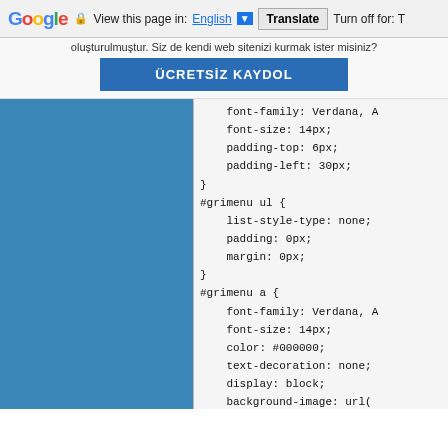Google  View this page in: English [▼]  Translate  Turn off for: T
oluşturulmuştur. Siz de kendi web sitenizi kurmak ister misiniz?
ÜCRETSİZ KAYDOL
[Figure (screenshot): Blue sidebar panel on the left, followed by a vertical divider, then a code view showing CSS rules: font-family, font-size, padding-top, padding-left inside a closing brace; then #grimenu ul { with list-style-type, padding, margin, closing brace; then #grimenu a { with font-family, font-size, color, text-decoration, display, background-image properties.]